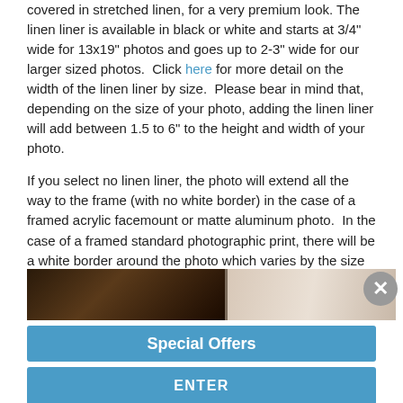covered in stretched linen, for a very premium look. The linen liner is available in black or white and starts at 3/4" wide for 13x19" photos and goes up to 2-3" wide for our larger sized photos. Click here for more detail on the width of the linen liner by size. Please bear in mind that, depending on the size of your photo, adding the linen liner will add between 1.5 to 6" to the height and width of your photo.
If you select no linen liner, the photo will extend all the way to the frame (with no white border) in the case of a framed acrylic facemount or matte aluminum photo. In the case of a framed standard photographic print, there will be a white border around the photo which varies by the size of the photo - click here for more detail on this width, by photo size.
[Figure (photo): Partial photo strip showing a dark wood-toned section on the left and a light beige/linen section on the right, with a grey X close button in the top-right corner.]
Special Offers
ENTER